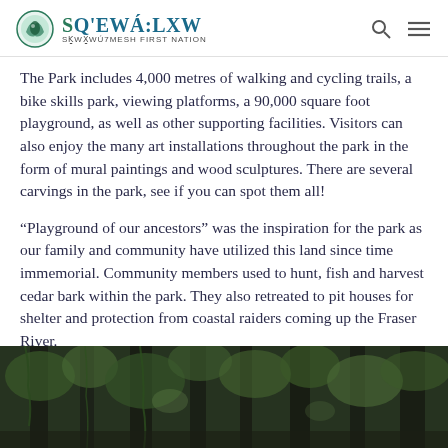SQ'EWÁ:LXW Sḵwx̱wú7mesh First Nation
The Park includes 4,000 metres of walking and cycling trails, a bike skills park, viewing platforms, a 90,000 square foot playground, as well as other supporting facilities. Visitors can also enjoy the many art installations throughout the park in the form of mural paintings and wood sculptures. There are several carvings in the park, see if you can spot them all!
“Playground of our ancestors” was the inspiration for the park as our family and community have utilized this land since time immemorial. Community members used to hunt, fish and harvest cedar bark within the park. They also retreated to pit houses for shelter and protection from coastal raiders coming up the Fraser River.
[Figure (photo): Forest scene with tall trees covered in moss and green foliage, dark woodland environment]